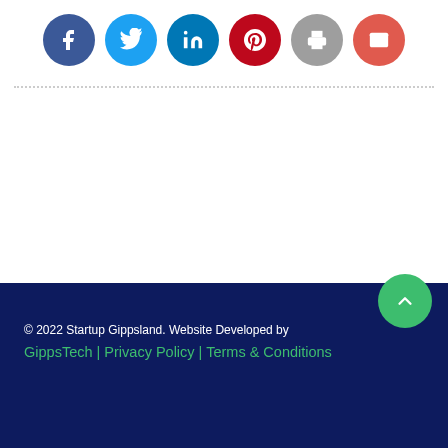[Figure (other): Row of social share icon buttons: Facebook (dark blue circle), Twitter (light blue circle), LinkedIn (blue circle), Pinterest (dark red circle), Print (grey circle), Email (red-orange circle)]
© 2022 Startup Gippsland. Website Developed by GippsTech | Privacy Policy | Terms & Conditions